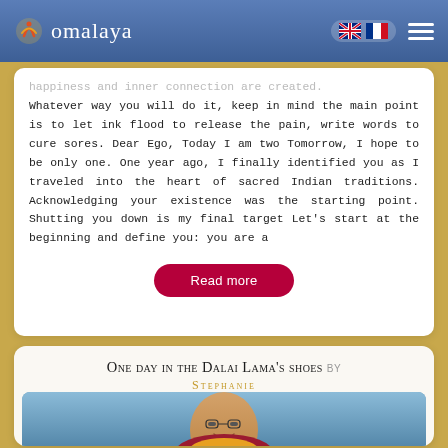omalaya
happiness and inner connection are created. Whatever way you will do it, keep in mind the main point is to let ink flood to release the pain, write words to cure sores. Dear Ego, Today I am two Tomorrow, I hope to be only one. One year ago, I finally identified you as I traveled into the heart of sacred Indian traditions. Acknowledging your existence was the starting point. Shutting you down is my final target Let's start at the beginning and define you: you are a
Read more
One day in the Dalai Lama's shoes by Stephanie
[Figure (photo): Photo of the Dalai Lama smiling, wearing robes, against a blue background]